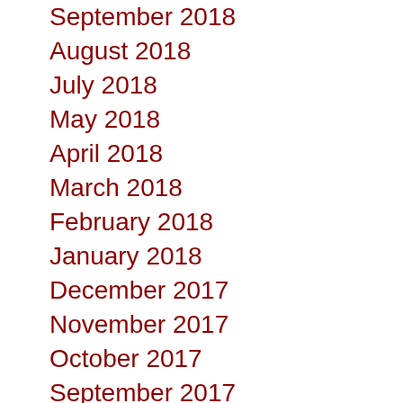September 2018
August 2018
July 2018
May 2018
April 2018
March 2018
February 2018
January 2018
December 2017
November 2017
October 2017
September 2017
August 2017
July 2017
June 2017